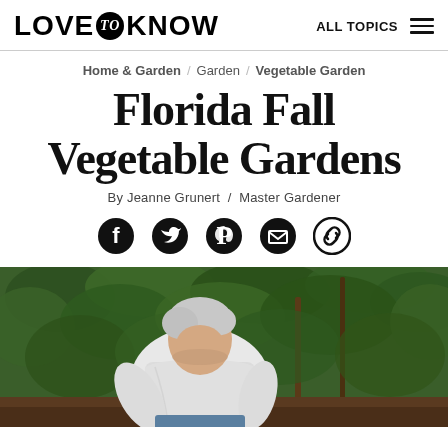LOVE to KNOW  ALL TOPICS
Home & Garden / Garden / Vegetable Garden
Florida Fall Vegetable Gardens
By Jeanne Grunert / Master Gardener
[Figure (infographic): Social sharing icons: Facebook, Twitter, Pinterest, Email, Link]
[Figure (photo): An older man with white hair wearing a white shirt bending down to tend to a vegetable garden with dense green foliage behind him]